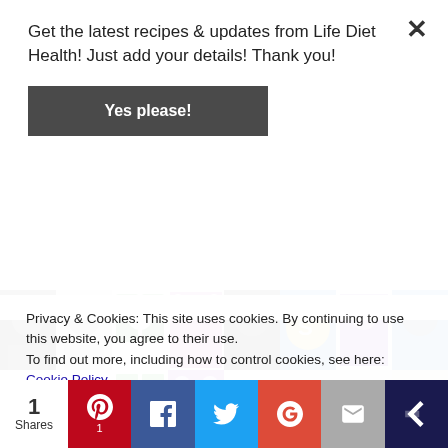Get the latest recipes & updates from Life Diet Health! Just add your details! Thank you!
Yes please!
[Figure (photo): Grid of social media follower avatar images arranged in rows]
Privacy & Cookies: This site uses cookies. By continuing to use this website, you agree to their use.
To find out more, including how to control cookies, see here: Cookie Policy
1 Shares — social share bar with Pinterest (1), Facebook, Twitter, Google+, Email, and crown icon buttons